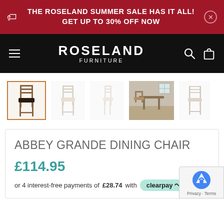THE ROSELAND SUMMER SALE HAS IT ALL! GET UP TO 30% OFF NOW
[Figure (logo): Roseland Furniture logo on black navigation bar with hamburger menu, search icon, and bag icon]
[Figure (photo): Row of 5 thumbnail images of the Abbey Grande Dining Chair in different angles and colorways; first thumbnail is selected with an orange border]
ABBEY GRANDE DINING CHAIR
£114.95
or 4 interest-free payments of £28.74 with Clearpay